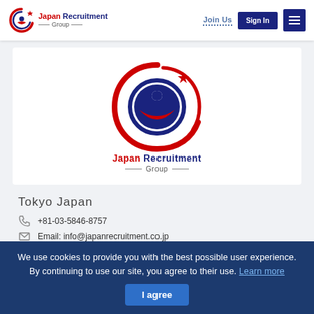[Figure (logo): Japan Recruitment Group logo in navbar — circular emblem with red swoosh and navy figure, plus text 'Japan Recruitment Group']
[Figure (logo): Japan Recruitment Group large logo in card — circular red and navy emblem with star, figure, swoosh shapes, and text 'Japan Recruitment Group']
Tokyo Japan
+81-03-5846-8757
Email: info@japanrecruitment.co.jp
www.japanrecruitment.co.jp/job
We use cookies to provide you with the best possible user experience. By continuing to use our site, you agree to their use. Learn more
I agree